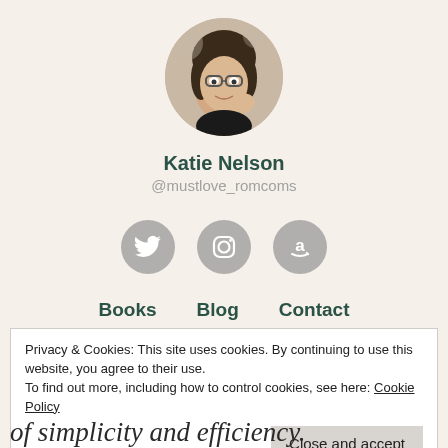[Figure (photo): Circular profile photo of a woman with glasses, smiling, with hand near face.]
Katie Nelson
@mustlove_romcoms
[Figure (illustration): Three circular gray social media icons: Twitter bird, Instagram camera, Amazon 'a' logo.]
Books   Blog   Contact
Privacy & Cookies: This site uses cookies. By continuing to use this website, you agree to their use.
To find out more, including how to control cookies, see here: Cookie Policy
Close and accept
of simplicity and efficiency.